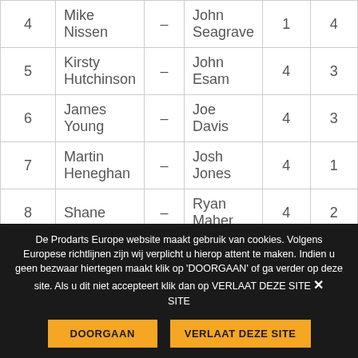| 4 | Mike Nissen | – | John Seagrave | 1 | 4 |
| 5 | Kirsty Hutchinson | – | John Esam | 4 | 3 |
| 6 | James Young | – | Joe Davis | 4 | 3 |
| 7 | Martin Heneghan | – | Josh Jones | 4 | 1 |
| 8 | Shane | – | Ryan Maher | 4 | 2 |
De Prodarts Europe website maakt gebruik van cookies. Volgens Europese richtlijnen zijn wij verplicht u hierop attent te maken. Indien u geen bezwaar hiertegen maakt klik op 'DOORGAAN' of ga verder op deze site. Als u dit niet accepteert klik dan op VERLAAT DEZE SITE. × DOORGAAN VERLAAT DEZE SITE